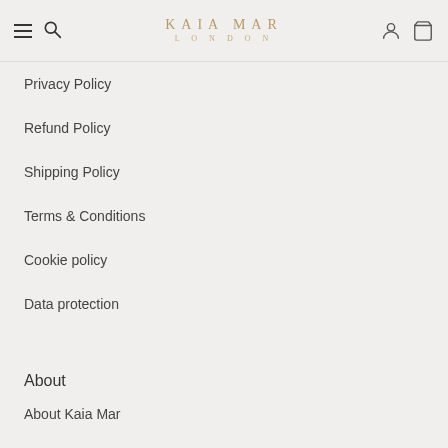KAIA MAR LONDON
Privacy Policy
Refund Policy
Shipping Policy
Terms & Conditions
Cookie policy
Data protection
About
About Kaia Mar
Collections
Blog